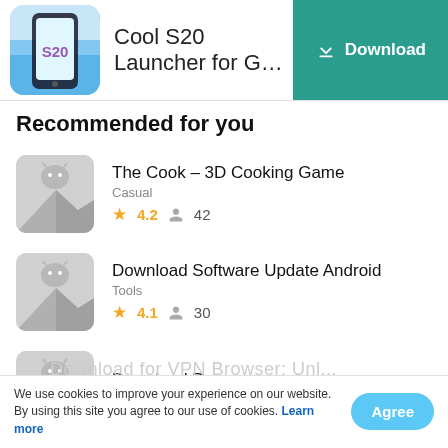Cool S20 Launcher for G…  Download
Recommended for you
The Cook – 3D Cooking Game
Casual
★ 4.2  👤 42
Download Software Update Android
Tools
★ 4.1  👤 30
Download Downpour.com
Kids
We use cookies to improve your experience on our website. By using this site you agree to our use of cookies. Learn more
Agree